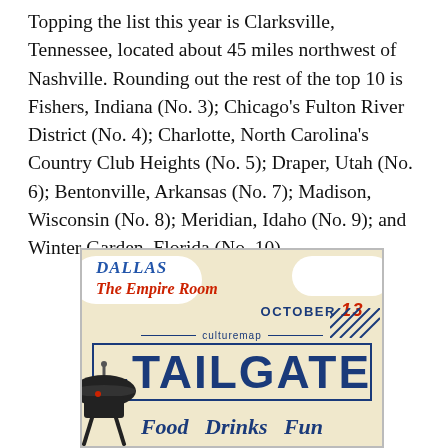Topping the list this year is Clarksville, Tennessee, located about 45 miles northwest of Nashville. Rounding out the rest of the top 10 is Fishers, Indiana (No. 3); Chicago's Fulton River District (No. 4); Charlotte, North Carolina's Country Club Heights (No. 5); Draper, Utah (No. 6); Bentonville, Arkansas (No. 7); Madison, Wisconsin (No. 8); Meridian, Idaho (No. 9); and Winter Garden, Florida (No. 10).
[Figure (illustration): Advertisement for CultureMap The Tailgate event. Dallas, The Empire Room, October 13. CultureMap THE TAILGATE. Food Drinks Fun. Beige/cream background with blue border box, decorative clouds, diagonal stripes, and grill illustration.]